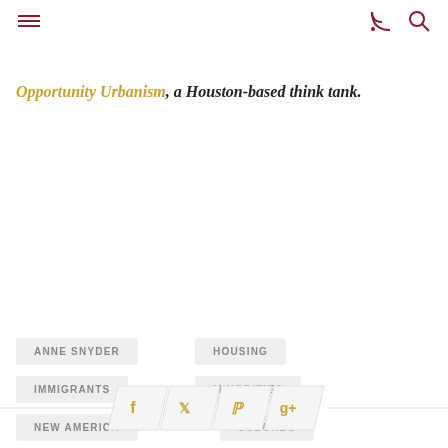≡  RSS  Search
Opportunity Urbanism, a Houston-based think tank.
ANNE SNYDER
HOUSING
IMMIGRANTS
MINORITIES
NEW AMERICA
SUBURBS
[Figure (infographic): Social sharing icons row: Facebook, Twitter, Pinterest, Google Plus with decorative parallelogram backgrounds and horizontal lines on each side]